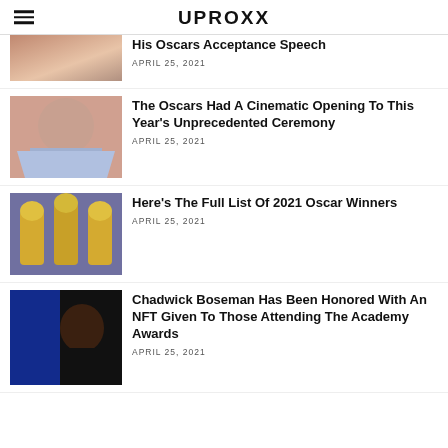UPROXX
[Figure (photo): Partial image of a person, cropped at top]
...His Oscars Acceptance Speech
APRIL 25, 2021
[Figure (photo): Woman in blue butterfly dress at red carpet]
The Oscars Had A Cinematic Opening To This Year's Unprecedented Ceremony
APRIL 25, 2021
[Figure (photo): Golden Oscar statuettes]
Here's The Full List Of 2021 Oscar Winners
APRIL 25, 2021
[Figure (photo): Chadwick Boseman in black jacket against blue backdrop]
Chadwick Boseman Has Been Honored With An NFT Given To Those Attending The Academy Awards
APRIL 25, 2021